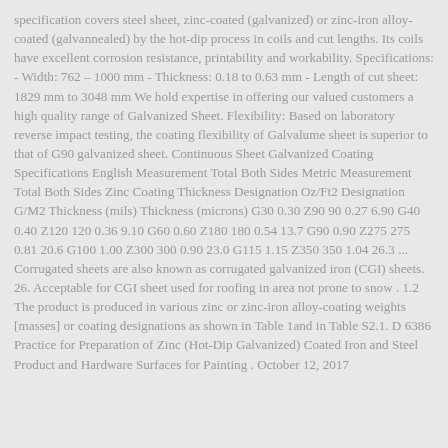specification covers steel sheet, zinc-coated (galvanized) or zinc-iron alloy-coated (galvannealed) by the hot-dip process in coils and cut lengths. Its coils have excellent corrosion resistance, printability and workability. Specifications: - Width: 762 – 1000 mm - Thickness: 0.18 to 0.63 mm - Length of cut sheet: 1829 mm to 3048 mm We hold expertise in offering our valued customers a high quality range of Galvanized Sheet. Flexibility: Based on laboratory reverse impact testing, the coating flexibility of Galvalume sheet is superior to that of G90 galvanized sheet. Continuous Sheet Galvanized Coating Specifications English Measurement Total Both Sides Metric Measurement Total Both Sides Zinc Coating Thickness Designation Oz/Ft2 Designation G/M2 Thickness (mils) Thickness (microns) G30 0.30 Z90 90 0.27 6.90 G40 0.40 Z120 120 0.36 9.10 G60 0.60 Z180 180 0.54 13.7 G90 0.90 Z275 275 0.81 20.6 G100 1.00 Z300 300 0.90 23.0 G115 1.15 Z350 350 1.04 26.3 ... Corrugated sheets are also known as corrugated galvanized iron (CGI) sheets. 26. Acceptable for CGI sheet used for roofing in area not prone to snow . 1.2 The product is produced in various zinc or zinc-iron alloy-coating weights [masses] or coating designations as shown in Table 1and in Table S2.1. D 6386 Practice for Preparation of Zinc (Hot-Dip Galvanized) Coated Iron and Steel Product and Hardware Surfaces for Painting . October 12, 2017